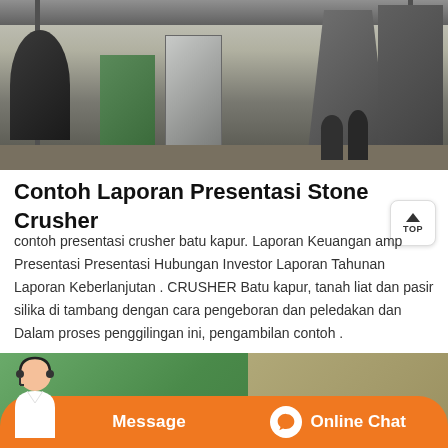[Figure (photo): Industrial stone crusher facility with machinery, green equipment, electrical control panel, and workers standing in background]
Contoh Laporan Presentasi Stone Crusher
contoh presentasi crusher batu kapur. Laporan Keuangan amp Presentasi Presentasi Hubungan Investor Laporan Tahunan Laporan Keberlanjutan . CRUSHER Batu kapur, tanah liat dan pasir silika di tambang dengan cara pengeboran dan peledakan dan Dalam proses penggilingan ini, pengambilan contoh .
[Figure (photo): Bottom portion of stone crusher site with green structures and orange chat bar overlay showing Message and Online Chat buttons]